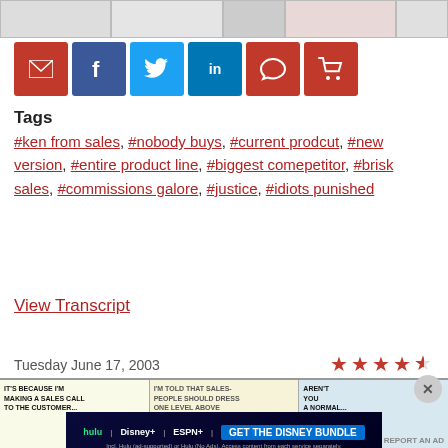[Figure (illustration): Comic strip panels at top of page showing cartoon office characters]
[Figure (infographic): Social sharing buttons row: email (red), Facebook (blue), Twitter (blue), LinkedIn (blue), comment (red), cart (red)]
Tags
#ken from sales, #nobody buys, #current prodcut, #new version, #entire product line, #biggest comepetitor, #brisk sales, #commissions galore, #justice, #idiots punished
View Transcript
Tuesday June 17, 2003
[Figure (illustration): 4 filled red stars and 1 half star rating]
[Figure (illustration): Bottom comic strip panels showing Dilbert sales call comic]
[Figure (illustration): Disney bundle advertisement banner: GET THE DISNEY BUNDLE - Hulu, Disney+, ESPN+]